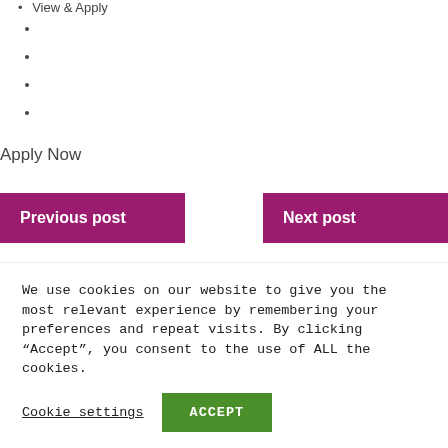View & Apply
Apply Now
Previous post
Next post
We use cookies on our website to give you the most relevant experience by remembering your preferences and repeat visits. By clicking “Accept”, you consent to the use of ALL the cookies.
Cookie settings
ACCEPT